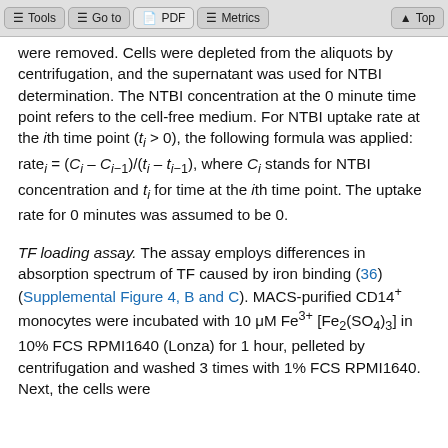Tools | Go to | PDF | Metrics | Top
were removed. Cells were depleted from the aliquots by centrifugation, and the supernatant was used for NTBI determination. The NTBI concentration at the 0 minute time point refers to the cell-free medium. For NTBI uptake rate at the ith time point (ti > 0), the following formula was applied: ratei = (Ci – Ci−1)/(ti – ti−1), where Ci stands for NTBI concentration and ti for time at the ith time point. The uptake rate for 0 minutes was assumed to be 0.
TF loading assay. The assay employs differences in absorption spectrum of TF caused by iron binding (36) (Supplemental Figure 4, B and C). MACS-purified CD14+ monocytes were incubated with 10 μM Fe3+ [Fe2(SO4)3] in 10% FCS RPMI1640 (Lonza) for 1 hour, pelleted by centrifugation and washed 3 times with 1% FCS RPMI1640. Next, the cells were